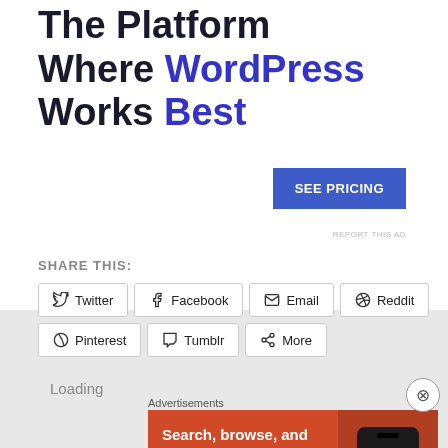The Platform Where WordPress Works Best
SEE PRICING
REPORT THIS AD
SHARE THIS:
Twitter
Facebook
Email
Reddit
Pinterest
Tumblr
More
Loading
Advertisements
[Figure (illustration): DuckDuckGo advertisement banner on orange background with phone mockup. Text: Search, browse, and email with more privacy. All in One Free App. DuckDuckGo logo visible on phone.]